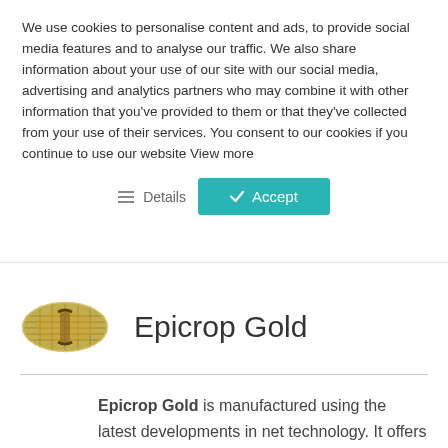We use cookies to personalise content and ads, to provide social media features and to analyse our traffic. We also share information about your use of our site with our social media, advertising and analytics partners who may combine it with other information that you've provided to them or that they've collected from your use of their services. You consent to our cookies if you continue to use our website View more
[Figure (screenshot): Cookie consent buttons: Details (with list icon) and Accept (teal button with checkmark)]
[Figure (illustration): Product image: a rolled-up green/yellow net or mesh product (Epicrop Gold)]
Epicrop Gold
Epicrop Gold is manufactured using the latest developments in net technology. It offers the user a